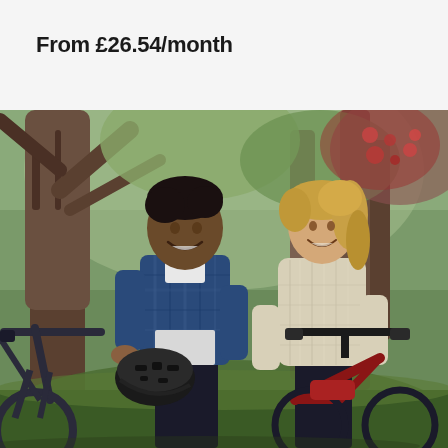From £26.54/month
[Figure (photo): A man and woman standing outdoors among trees, both smiling and holding bicycles. The man wears a blue plaid shirt over a white t-shirt and carries a black helmet. The woman wears a cream cable-knit sweater and holds a red electric bike. Green foliage and autumn trees in background.]